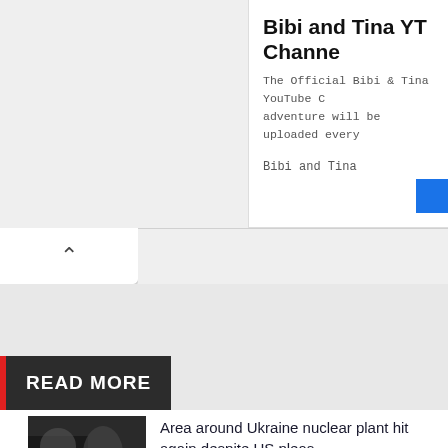Bibi and Tina YT Channe
The Official Bibi & Tina YouTube C adventure will be uploaded every
Bibi and Tina
READ MORE
Area around Ukraine nuclear plant hit again despite US pleas
Third ODI: Raza's gutsy ton goes in vain as India sweep series
Filmfare withdraws Kangana's best actress nomination after she calls them 'corrupt'